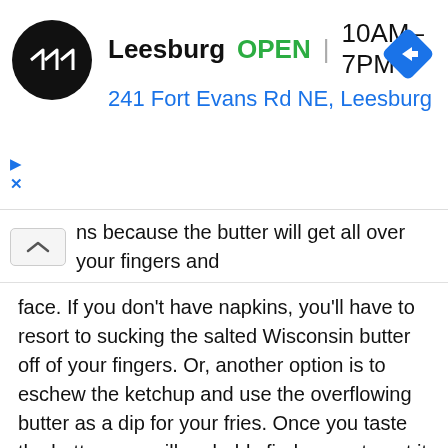[Figure (screenshot): Ad banner showing a business listing for Leesburg location with logo, OPEN status, hours 10AM-7PM, address 241 Fort Evans Rd NE Leesburg, and a navigation arrow icon]
ns because the butter will get all over your fingers and face. If you don't have napkins, you'll have to resort to sucking the salted Wisconsin butter off of your fingers. Or, another option is to eschew the ketchup and use the overflowing butter as a dip for your fries. Once you taste the butter, you will probably find a way to get it into your mouth.